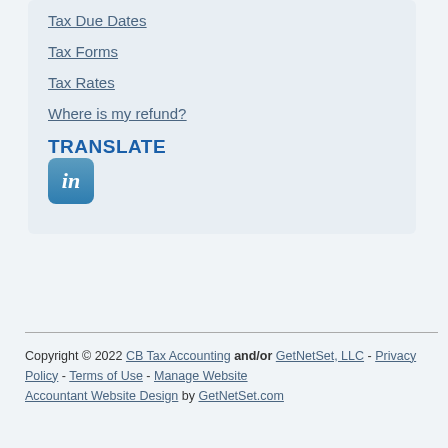Tax Due Dates
Tax Forms
Tax Rates
Where is my refund?
TRANSLATE
[Figure (logo): LinkedIn logo icon — blue rounded square with white 'in' text]
Copyright © 2022 CB Tax Accounting and/or GetNetSet, LLC - Privacy Policy - Terms of Use - Manage Website Accountant Website Design by GetNetSet.com